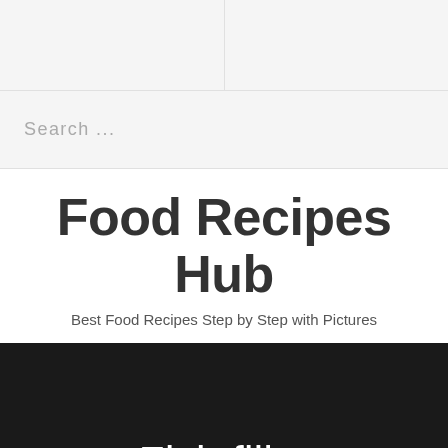Search ...
Food Recipes Hub
Best Food Recipes Step by Step with Pictures
Fish fillet